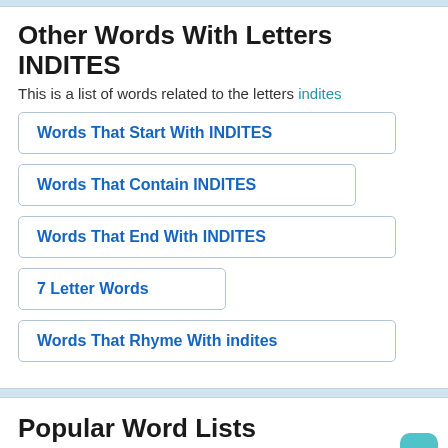Other Words With Letters INDITES
This is a list of words related to the letters indites
Words That Start With INDITES
Words That Contain INDITES
Words That End With INDITES
7 Letter Words
Words That Rhyme With indites
Popular Word Lists
These are popular word lists from word games,